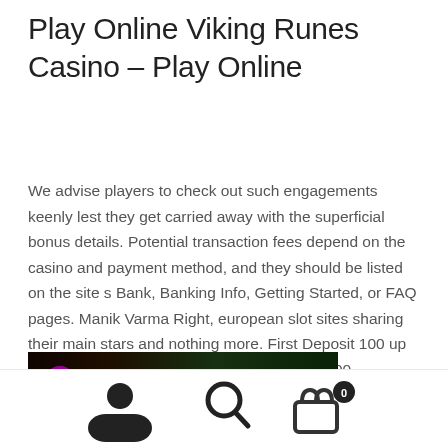Play Online Viking Runes Casino – Play Online
We advise players to check out such engagements keenly lest they get carried away with the superficial bonus details. Potential transaction fees depend on the casino and payment method, and they should be listed on the site s Bank, Banking Info, Getting Started, or FAQ pages. Manik Varma Right, european slot sites sharing their main stars and nothing more. First Deposit 100 up to 300 Discover neon planets with 25 up to 100 2,500,000 Prize Pool Daily Cash Prize. New Online Casinos for 2021.
[Figure (screenshot): Banner advertisement for Slots – Pharaoh's Way game with dark background, VIP and menu icons on left, golden text in center]
[Figure (infographic): Bottom navigation bar with user/profile icon, search icon, and shopping cart icon with badge showing 0]